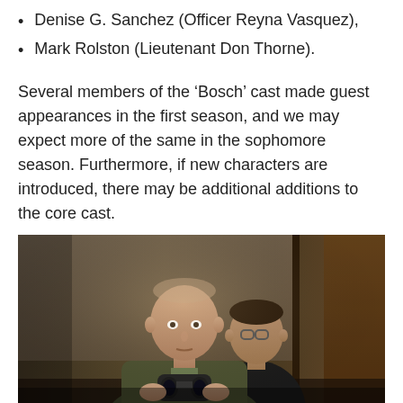Denise G. Sanchez (Officer Reyna Vasquez),
Mark Rolston (Lieutenant Don Thorne).
Several members of the ‘Bosch’ cast made guest appearances in the first season, and we may expect more of the same in the sophomore season. Furthermore, if new characters are introduced, there may be additional additions to the core cast.
[Figure (photo): Two men in a dimly lit interior scene; the man in front wears a dark olive jacket and holds binoculars, the man behind wears glasses and a dark suit jacket. The background shows dark curtains and a patterned wall.]